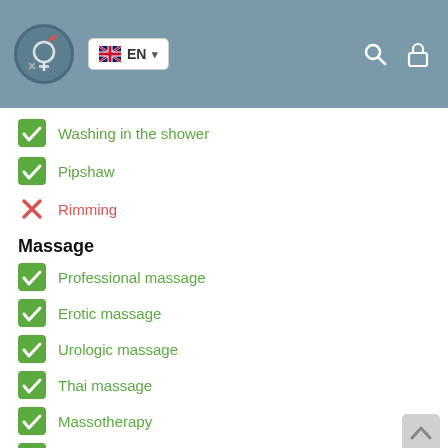EN (language selector with flag, search icon, lock icon)
Washing in the shower
Pipshaw
Rimming (unchecked/X)
Massage
Professional massage
Erotic massage
Urologic massage
Thai massage
Massotherapy
Four-Hand Massage
Sports massage
Relaxing massage
Sakura Branch
Striptease
Striptease